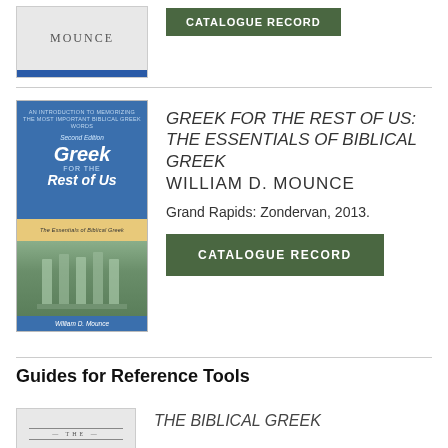[Figure (photo): Partial book cover showing MOUNCE text with blue bar at bottom]
CATALOGUE RECORD
[Figure (photo): Book cover: Greek for the Rest of Us: The Essentials of Biblical Greek, Second Edition, William D. Mounce, blue cover with Greek columns photo]
GREEK FOR THE REST OF US: THE ESSENTIALS OF BIBLICAL GREEK
WILLIAM D. MOUNCE
Grand Rapids: Zondervan, 2013.
CATALOGUE RECORD
Guides for Reference Tools
[Figure (photo): Partial book cover showing THE text with horizontal lines]
THE BIBLICAL GREEK